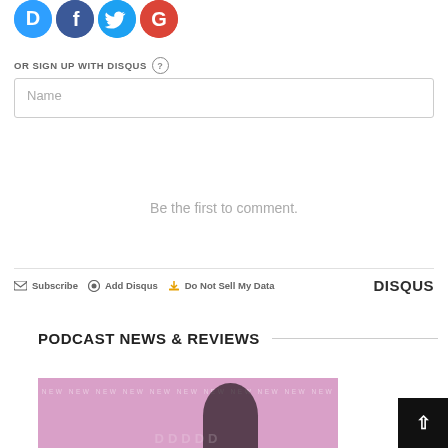[Figure (logo): Four social login icons: Disqus (D, blue circle), Facebook (f, dark blue circle), Twitter (bird, light blue circle), Google (G, red circle)]
OR SIGN UP WITH DISQUS ?
[Figure (screenshot): Name input text field with placeholder text 'Name']
Be the first to comment.
Subscribe  Add Disqus  Do Not Sell My Data    DISQUS
PODCAST NEWS & REVIEWS
[Figure (photo): Podcast promotional image with pink/purple background, repeating NEW text watermark, dark silhouette figure with headphones, and partial logo text at bottom]